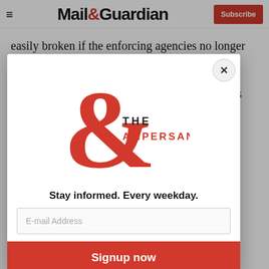Mail&Guardian | Subscribe
easily broken if the enforcing agencies no longer believe in them.
The source of the courts' authority is moral. It is the b... a... w... e... a...
It... c... th... a...
[Figure (logo): The Ampersand newsletter logo — large red ampersand symbol with text 'THE AMPERSAND' in red serif/sans letters]
Stay informed. Every weekday.
E-mail Address
Signup now